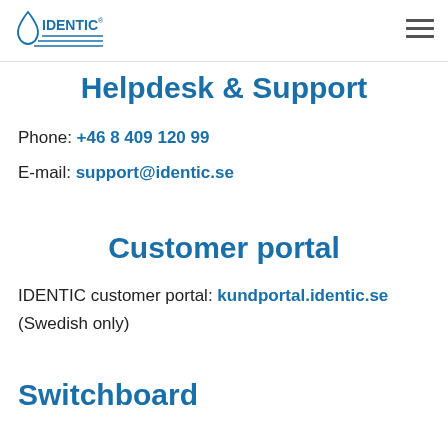[Figure (logo): IDENTIC company logo with water drop icon and horizontal lines, in blue]
Helpdesk & Support
Phone: +46 8 409 120 99
E-mail: support@identic.se
Customer portal
IDENTIC customer portal: kundportal.identic.se (Swedish only)
Switchboard